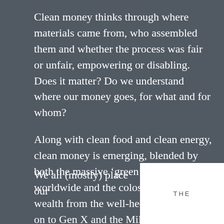Clean money thinks through where materials came from, who assembled them and whether the process was fair or unfair, empowering or disabling. Does it matter? Do we understand where our money goes, for what and for whom?
Along with clean food and clean energy, clean money is emerging, blended by both the massive ‘green’ movement worldwide and the colossal transfer of wealth from the well-heeled Boomers on to Gen X and the Millenials*.
We all (mostly) place our
[Figure (illustration): Partial view of a book cover showing the word THE at the top]